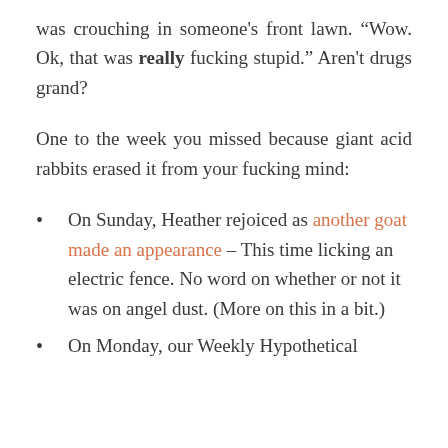was crouching in someone's front lawn. “Wow. Ok, that was really fucking stupid.” Aren’t drugs grand?
One to the week you missed because giant acid rabbits erased it from your fucking mind:
On Sunday, Heather rejoiced as another goat made an appearance – This time licking an electric fence. No word on whether or not it was on angel dust. (More on this in a bit.)
On Monday, our Weekly Hypothetical